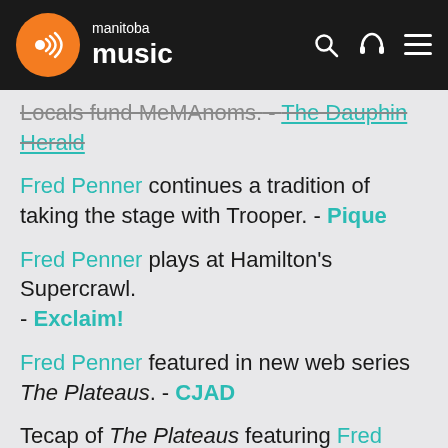manitoba music
Locals fund MeMAnoms. - The Dauphin Herald
Fred Penner continues a tradition of taking the stage with Trooper. - Pique
Fred Penner plays at Hamilton's Supercrawl. - Exclaim!
Fred Penner featured in new web series The Plateaus. - CJAD
Tecap of The Plateaus featuring Fred Penner. - Medicine Hat News
Yes We Mystic plays Saskatoon. - The Star Phoenix
The Darcys...